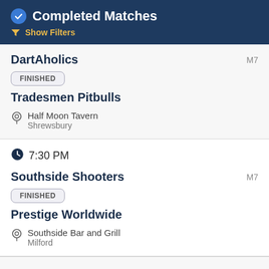Completed Matches
Show Filters
DartAholics M7
FINISHED
Tradesmen Pitbulls
Half Moon Tavern
Shrewsbury
7:30 PM
Southside Shooters M7
FINISHED
Prestige Worldwide
Southside Bar and Grill
Milford